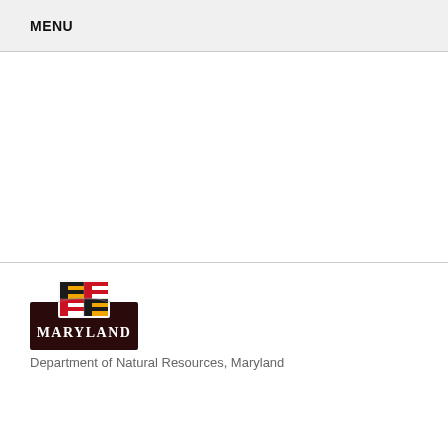MENU
[Figure (logo): Maryland state logo with crest above and MARYLAND text on dark background]
Department of Natural Resources, Maryland